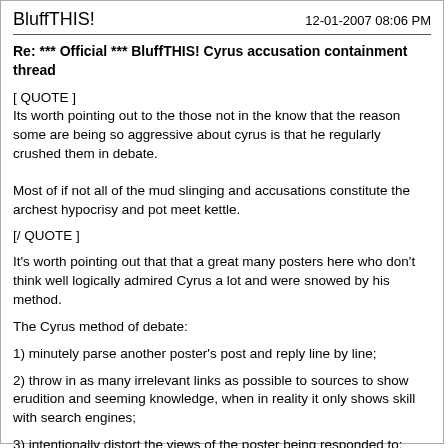BluffTHIS!    12-01-2007 08:06 PM
Re: *** Official *** BluffTHIS! Cyrus accusation containment thread
[ QUOTE ]
Its worth pointing out to the those not in the know that the reason some are being so aggressive about cyrus is that he regularly crushed them in debate.

Most of if not all of the mud slinging and accusations constitute the archest hypocrisy and pot meet kettle.

[/ QUOTE ]
It's worth pointing out that that a great many posters here who don't think well logically admired Cyrus a lot and were snowed by his method.
The Cyrus method of debate:
1) minutely parse another poster's post and reply line by line;
2) throw in as many irrelevant links as possible to sources to show erudition and seeming knowledge, when in reality it only shows skill with search engines;
3) intentionally distort the views of the poster being responded to: